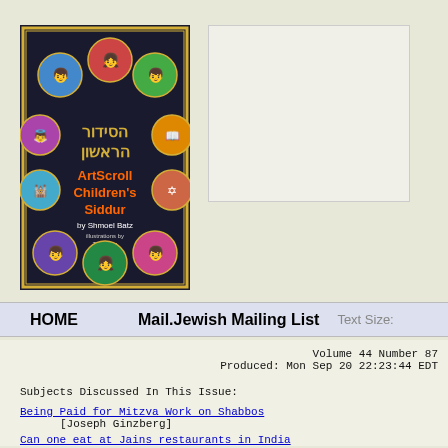[Figure (photo): Book cover of ArtScroll Children's Siddur by Shmoel Batz, featuring colorful circular illustrations of children on a dark background with Hebrew text]
[Figure (other): Advertisement box, light colored, partially visible on right side]
HOME   Mail.Jewish Mailing List   Text Size:
Volume 44 Number 87
Produced: Mon Sep 20 22:23:44 EDT
Subjects Discussed In This Issue:
Being Paid for Mitzva Work on Shabbos
[Joseph Ginzberg]
Can one eat at Jains restaurants in India